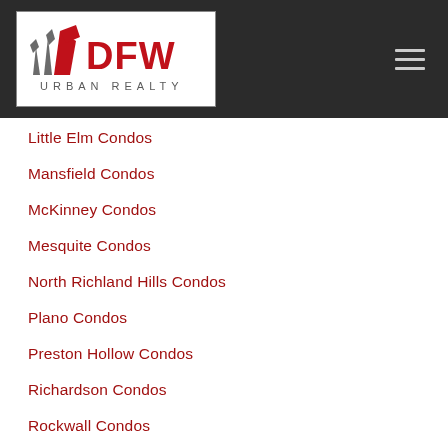[Figure (logo): DFW Urban Realty logo with stylized flag/building icons in red and grey, text 'DFW URBAN REALTY']
Little Elm Condos
Mansfield Condos
McKinney Condos
Mesquite Condos
North Richland Hills Condos
Plano Condos
Preston Hollow Condos
Richardson Condos
Rockwall Condos
Rowlett Condos